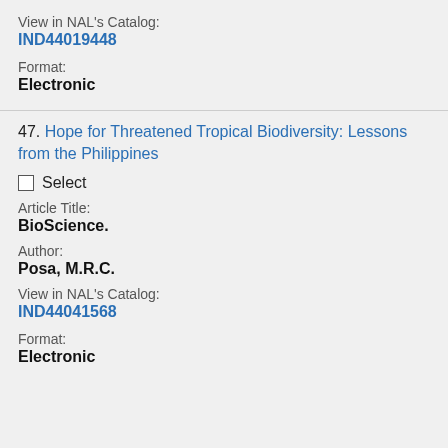View in NAL's Catalog:
IND44019448
Format:
Electronic
47. Hope for Threatened Tropical Biodiversity: Lessons from the Philippines
Select
Article Title:
BioScience.
Author:
Posa, M.R.C.
View in NAL's Catalog:
IND44041568
Format:
Electronic